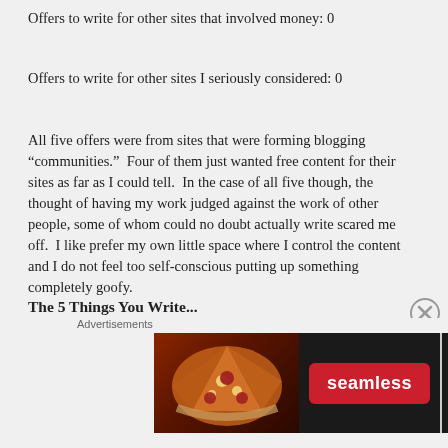Offers to write for other sites that involved money: 0
Offers to write for other sites I seriously considered: 0
All five offers were from sites that were forming blogging “communities.”  Four of them just wanted free content for their sites as far as I could tell.  In the case of all five though, the thought of having my work judged against the work of other people, some of whom could no doubt actually write scared me off.  I like prefer my own little space where I control the content and I do not feel too self-conscious putting up something completely goofy.
The 5 Things You Write...
I tend to write lists of five things.  This is usually because I
[Figure (other): Seamless food delivery advertisement banner with pizza image on left, Seamless logo in center, and ORDER NOW button on right]
Advertisements